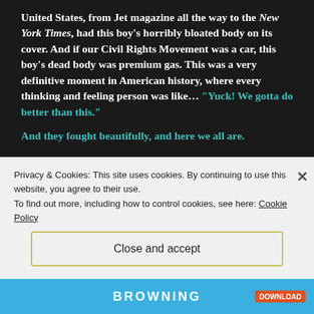United States, from Jet magazine all the way to the New York Times, had this boy's horribly bloated body on its cover. And if our Civil Rights Movement was a car, this boy's dead body was premium gas. This was a very definitive moment in American history, where every thinking and feeling person was like... "Yuck! We gotta do better than this."
And they fought beautifully, and here we all are.
And the reason that I bring that up tonight and why it's relevant now, is because less than a year ago, the woman that he allegedly whistled at... admitted on her deathbed... that she lied in her court testimony. And
Privacy & Cookies: This site uses cookies. By continuing to use this website, you agree to their use.
To find out more, including how to control cookies, see here: Cookie Policy
Close and accept